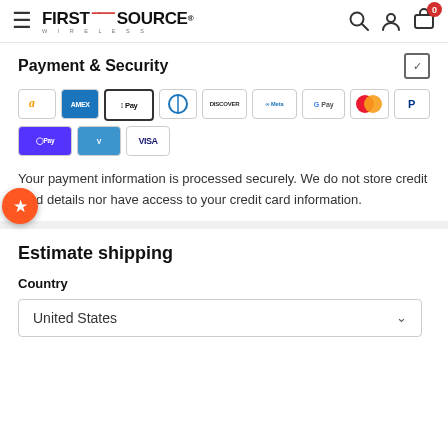First Source Wireless — navigation header with hamburger menu, logo, search, account, and cart icons
Payment & Security
[Figure (other): Payment method icons: Amazon, Amex, Apple Pay, Diners Club, Discover, Meta Pay, Google Pay, Mastercard, PayPal, Shop Pay, Venmo, Visa]
Your payment information is processed securely. We do not store credit card details nor have access to your credit card information.
Estimate shipping
Country
United States